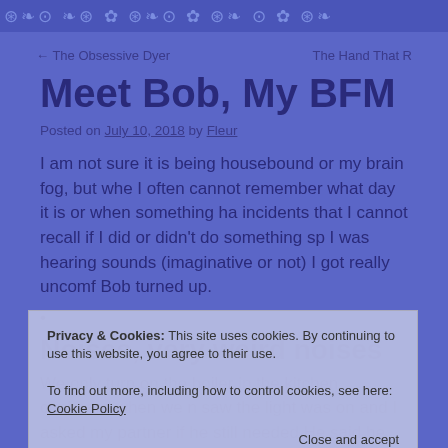decorative icon bar
← The Obsessive Dyer     The Hand That R
Meet Bob, My BFM
Posted on July 10, 2018 by Fleur
I am not sure it is being housebound or my brain fog, but whe I often cannot remember what day it is or when something ha incidents that I cannot recall if I did or didn't do something sp I was hearing sounds (imaginative or not) I got really uncomf Bob turned up.
Noises, very weird noises
We only turn on the boiler in the kitchen cupboard when we n saw the light was on and I asked my partner if he still needed He said he had not used it. I did, but I was certain I had turne
Privacy & Cookies: This site uses cookies. By continuing to use this website, you agree to their use.
To find out more, including how to control cookies, see here: Cookie Policy
Close and accept